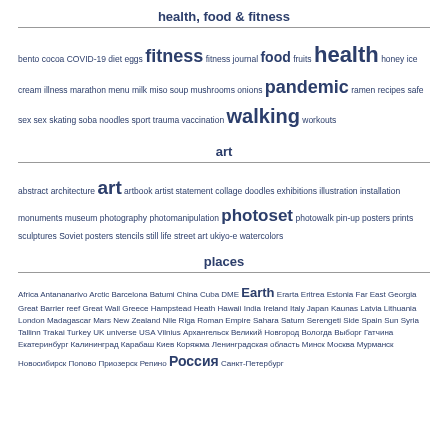health, food & fitness
bento cocoa COVID-19 diet eggs fitness fitness journal food fruits health honey ice cream illness marathon menu milk miso soup mushrooms onions pandemic ramen recipes safe sex sex skating soba noodles sport trauma vaccination walking workouts
art
abstract architecture art artbook artist statement collage doodles exhibitions illustration installation monuments museum photography photomanipulation photoset photowalk pin-up posters prints sculptures Soviet posters stencils still life street art ukiyo-e watercolors
places
Africa Antananarivo Arctic Barcelona Batumi China Cuba DME Earth Erarta Eritrea Estonia Far East Georgia Great Barrier reef Great Wall Greece Hampstead Heath Hawaii India Ireland Italy Japan Kaunas Latvia Lithuania London Madagascar Mars New Zealand Nile Riga Roman Empire Sahara Saturn Serengeti Side Spain Sun Syria Tallinn Trakai Turkey UK universe USA Vilnius Архангельск Великий Новгород Вологда Выборг Гатчина Екатеринбург Калининград Карабаш Киев Коряжма Ленинградская область Минск Москва Мурманск Новосибирск Попово Приозерск Репино Россия Санкт-Петербург...